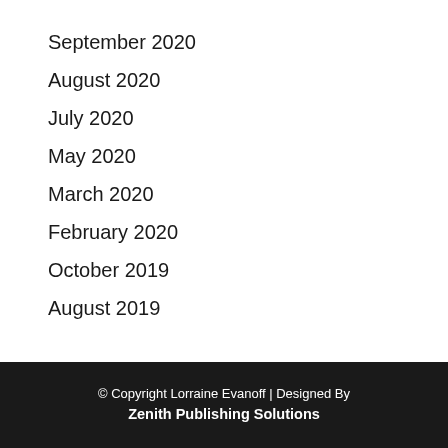September 2020
August 2020
July 2020
May 2020
March 2020
February 2020
October 2019
August 2019
© Copyright Lorraine Evanoff | Designed By Zenith Publishing Solutions